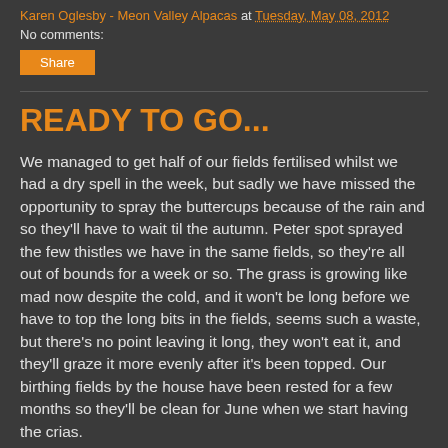Karen Oglesby - Meon Valley Alpacas at Tuesday, May 08, 2012
No comments:
Share
READY TO GO...
We managed to get half of our fields fertilised whilst we had a dry spell in the week, but sadly we have missed the opportunity to spray the buttercups because of the rain and so they'll have to wait til the autumn.  Peter spot sprayed the few thistles we have in the same fields, so they're all out of bounds for a week or so. The grass is growing like mad now despite the cold, and it won't be long before we have to top the long bits in the fields, seems such a waste, but there's no point leaving it long, they won't eat it, and they'll graze it more evenly after it's been topped. Our birthing fields by the house have been rested for a few months so they'll be clean for June when we start having the crias.
Rebecca and I are off to The South of England Show this